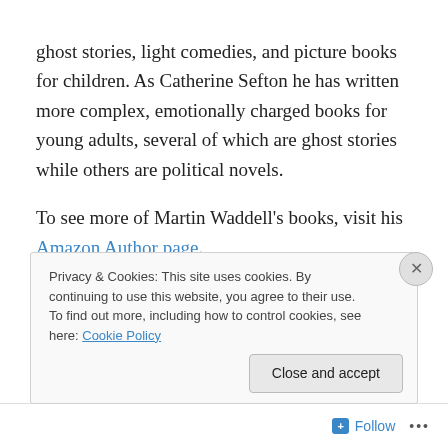ghost stories, light comedies, and picture books for children. As Catherine Sefton he has written more complex, emotionally charged books for young adults, several of which are ghost stories while others are political novels.
To see more of Martin Waddell's books, visit his Amazon Author page.
About the Illustrator: Barbara Firth Her lifelike drawings has make these books a favorite of mine. They are some of the very few children's books I have found to depict life
Privacy & Cookies: This site uses cookies. By continuing to use this website, you agree to their use.
To find out more, including how to control cookies, see here: Cookie Policy
Close and accept
Follow ...